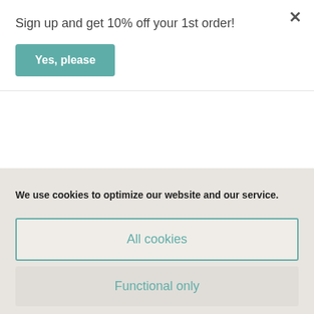Sign up and get 10% off your 1st order!
Yes, please
We use cookies to optimize our website and our service.
All cookies
Functional only
Cookie policy   Privacy policy
£20.00
Gift pouch Blood Orange Lip Balm